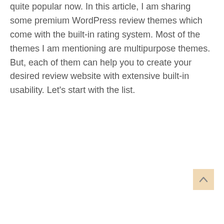quite popular now. In this article, I am sharing some premium WordPress review themes which come with the built-in rating system. Most of the themes I am mentioning are multipurpose themes. But, each of them can help you to create your desired review website with extensive built-in usability. Let's start with the list.
[Figure (other): A scroll-to-top button with an upward-pointing chevron arrow, styled with a light peach/beige background color, positioned at the bottom-right of the page.]